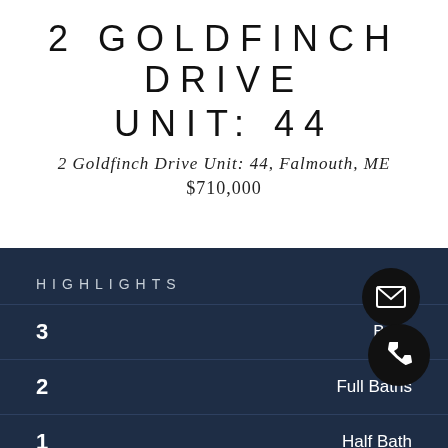2 GOLDFINCH DRIVE
UNIT: 44
2 Goldfinch Drive Unit: 44, Falmouth, ME
$710,000
HIGHLIGHTS
3  Beds
2  Full Baths
1  Half Bath